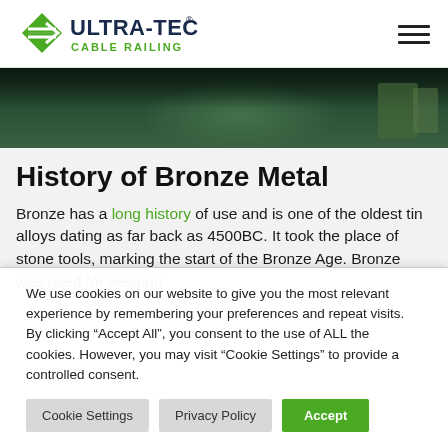[Figure (logo): Ultra-Tec Cable Railing logo with green diamond arrow icon and dark blue bold ULTRA-TEC text with green CABLE RAILING subtitle]
[Figure (photo): Hero banner image showing a dark green outdoor scene, appears to be a bronze or metal sculpture or railing in an outdoor setting]
History of Bronze Metal
Bronze has a long history of use and is one of the oldest tin alloys dating as far back as 4500BC. It took the place of stone tools, marking the start of the Bronze Age. Bronze was used for weapon
We use cookies on our website to give you the most relevant experience by remembering your preferences and repeat visits. By clicking “Accept All”, you consent to the use of ALL the cookies. However, you may visit “Cookie Settings” to provide a controlled consent.